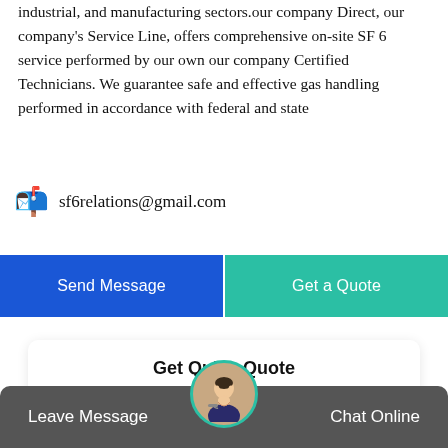industrial, and manufacturing sectors.our company Direct, our company's Service Line, offers comprehensive on-site SF 6 service performed by our own our company Certified Technicians. We guarantee safe and effective gas handling performed in accordance with federal and state
sf6relations@gmail.com
Send Message
Get a Quote
Get Quick Quote
Need more information about our products and prices?Just contact us, we are waiting
Leave Message
Chat Online